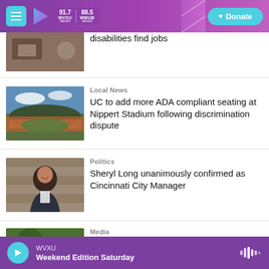WVXU 91.7 NEWS | WMUB 88.5 NEWS | Donate
[Figure (photo): Partial photo, cut off at top, showing a kitchen or workspace scene]
disabilities find jobs
[Figure (photo): Aerial view of Nippert Stadium packed with fans]
Local News
UC to add more ADA compliant seating at Nippert Stadium following discrimination dispute
[Figure (photo): Portrait of Sheryl Long, a woman with dark hair smiling against a stone wall background]
Politics
Sheryl Long unanimously confirmed as Cincinnati City Manager
[Figure (photo): Partial photo at bottom, cut off, greenery visible]
Media
WVXU Weekend Edition Saturday